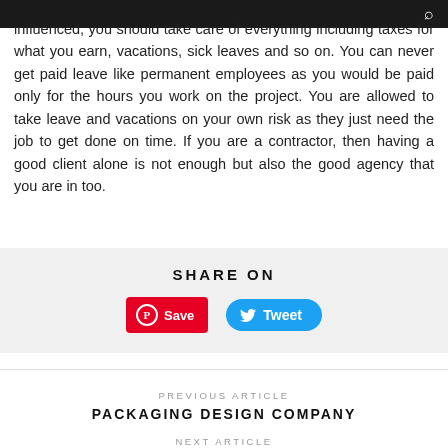influenced, you should take care of everything including taxes for what you earn, vacations, sick leaves and so on. You can never get paid leave like permanent employees as you would be paid only for the hours you work on the project. You are allowed to take leave and vacations on your own risk as they just need the job to get done on time. If you are a contractor, then having a good client alone is not enough but also the good agency that you are in too.
SHARE ON
[Figure (other): Pinterest Save button (red) and Tweet button (blue) for social sharing]
PREVIOUS ARTICLE
PACKAGING DESIGN COMPANY
NEXT ARTICLE